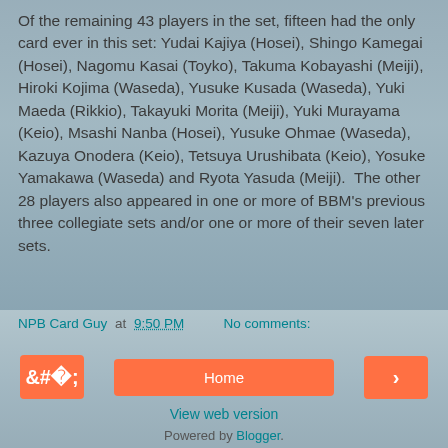Of the remaining 43 players in the set, fifteen had the only card ever in this set: Yudai Kajiya (Hosei), Shingo Kamegai (Hosei), Nagomu Kasai (Toyko), Takuma Kobayashi (Meiji), Hiroki Kojima (Waseda), Yusuke Kusada (Waseda), Yuki Maeda (Rikkio), Takayuki Morita (Meiji), Yuki Murayama (Keio), Msashi Nanba (Hosei), Yusuke Ohmae (Waseda), Kazuya Onodera (Keio), Tetsuya Urushibata (Keio), Yosuke Yamakawa (Waseda) and Ryota Yasuda (Meiji).  The other 28 players also appeared in one or more of BBM's previous three collegiate sets and/or one or more of their seven later sets.
NPB Card Guy at 9:50 PM   No comments:
Home
View web version
Powered by Blogger.